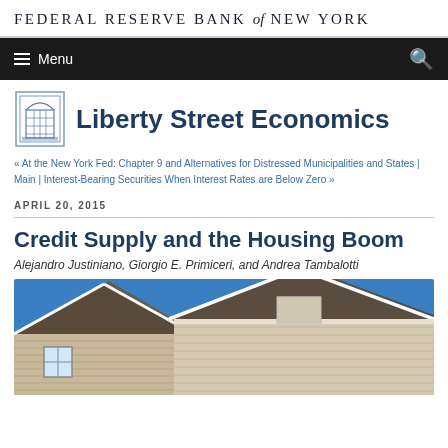FEDERAL RESERVE BANK of NEW YORK
Menu
Liberty Street Economics
« At the New York Fed: Chapter 9 and Alternatives for Distressed Municipalities and States | Main | Interest-Bearing Securities When Interest Rates are Below Zero »
APRIL 20, 2015
Credit Supply and the Housing Boom
Alejandro Justiniano, Giorgio E. Primiceri, and Andrea Tambalotti
[Figure (photo): Photograph of residential houses with siding facades against a clear blue sky, showing rooftops and a window.]